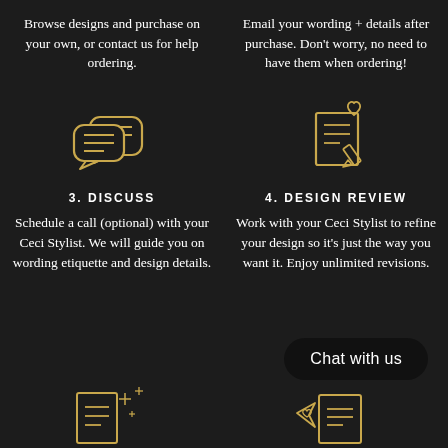Browse designs and purchase on your own, or contact us for help ordering.
Email your wording + details after purchase. Don't worry, no need to have them when ordering!
[Figure (illustration): Chat bubbles icon in gold outline style]
3. DISCUSS
Schedule a call (optional) with your Ceci Stylist. We will guide you on wording etiquette and design details.
[Figure (illustration): Document with heart and pencil icon in gold outline style]
4. DESIGN REVIEW
Work with your Ceci Stylist to refine your design so it's just the way you want it. Enjoy unlimited revisions.
[Figure (illustration): Chat with us button (dark pill shape)]
[Figure (illustration): Sparkle document icon in gold outline style (bottom left)]
[Figure (illustration): Mail/send with heart icon in gold outline style (bottom right)]